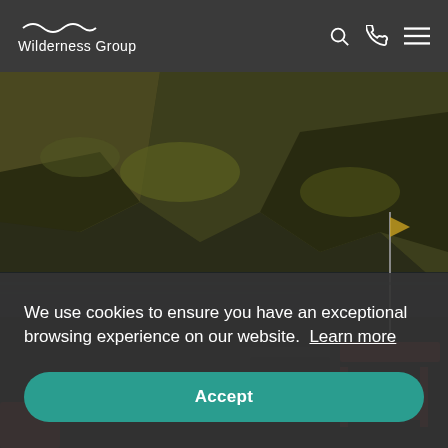Wilderness Group
[Figure (photo): Scenic outdoor photograph showing a rugged mountainside covered in heather and moorland vegetation, with a body of water (loch or fjord) at the base. In the foreground there is a person and red/orange boat or vessel equipment, along with parked vehicles.]
We use cookies to ensure you have an exceptional browsing experience on our website. Learn more
Accept